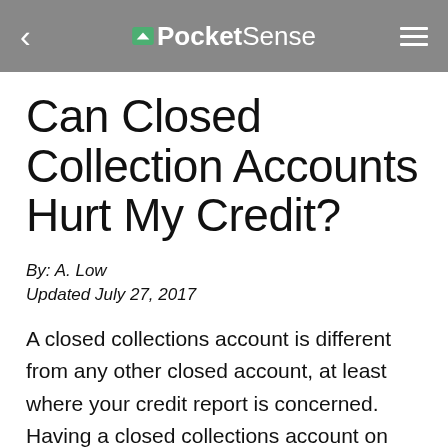PocketSense
Can Closed Collection Accounts Hurt My Credit?
By: A. Low
Updated July 27, 2017
A closed collections account is different from any other closed account, at least where your credit report is concerned. Having a closed collections account on your report, rather than a closed account in